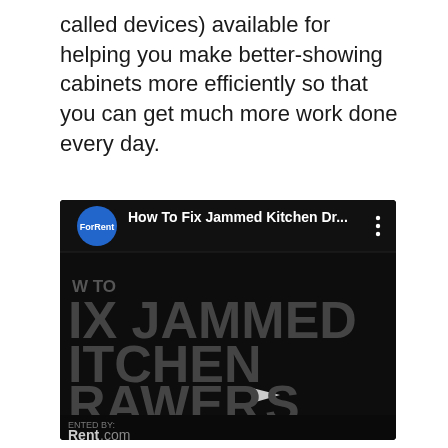called devices) available for helping you make better-showing cabinets more efficiently so that you can get much more work done every day.
[Figure (screenshot): YouTube video thumbnail showing 'How To Fix Jammed Kitchen Dr...' by ForRent channel. Dark background with large text 'IX JAMMED ITCHEN RAWERS' and a play button. Bottom shows 'ENTED BY: Rent.com']